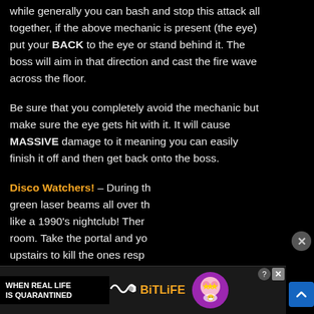while generally you can bash and stop this attack all together, if the above mechanic is present (the eye) put your BACK to the eye or stand behind it. The boss will aim in that direction and cast the fire wave across the floor.
Be sure that you completely avoid the mechanic but make sure the eye gets hit with it. It will cause MASSIVE damage to it meaning you can easily finish it off and then get back onto the boss.
Disco Watchers! – During th green laser beams all over th like a 1990's nightclub! Ther room. Take the portal and yo upstairs to kill the ones resp
[Figure (screenshot): Advertisement banner for BitLife game: 'WHEN REAL LIFE IS QUARANTINED' with BitLife logo and emoji character]